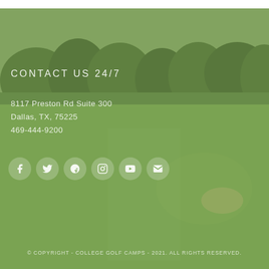[Figure (photo): Golf course background image with green grass fairway, trees, and cloudy sky overlaid with green tint]
CONTACT US 24/7
8117 Preston Rd Suite 300
Dallas, TX, 75225
469-444-9200
[Figure (other): Row of 6 social media icon circles: Facebook, Twitter, Google+, Instagram, YouTube, Email]
© COPYRIGHT - COLLEGE GOLF CAMPS - 2021. ALL RIGHTS RESERVED.